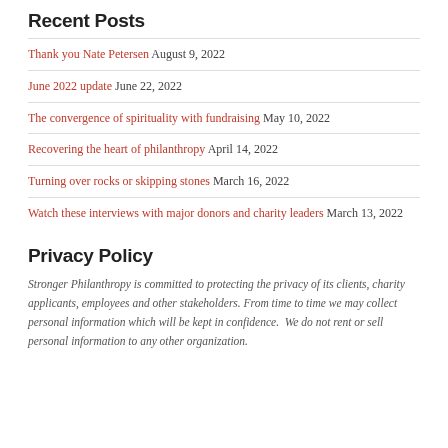Recent Posts
Thank you Nate Petersen August 9, 2022
June 2022 update June 22, 2022
The convergence of spirituality with fundraising May 10, 2022
Recovering the heart of philanthropy April 14, 2022
Turning over rocks or skipping stones March 16, 2022
Watch these interviews with major donors and charity leaders March 13, 2022
Privacy Policy
Stronger Philanthropy is committed to protecting the privacy of its clients, charity applicants, employees and other stakeholders. From time to time we may collect personal information which will be kept in confidence.  We do not rent or sell personal information to any other organization.